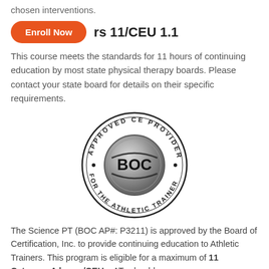chosen interventions.
rs 11/CEU 1.1
This course meets the standards for 11 hours of continuing education by most state physical therapy boards. Please contact your state board for details on their specific requirements.
[Figure (logo): BOC Approved CE Provider for the Athletic Trainer circular seal/badge with metallic disc in center showing 'BOC' text]
The Science PT (BOC AP#: P3211) is approved by the Board of Certification, Inc. to provide continuing education to Athletic Trainers. This program is eligible for a maximum of 11 Category A hours/CEUs. ATs should